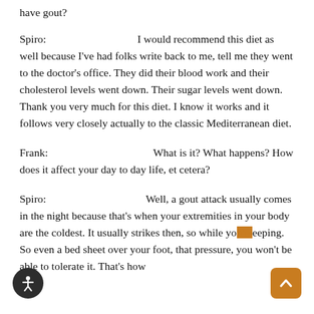have gout?
Spiro:   I would recommend this diet as well because I've had folks write back to me, tell me they went to the doctor's office. They did their blood work and their cholesterol levels went down. Their sugar levels went down. Thank you very much for this diet. I know it works and it follows very closely actually to the classic Mediterranean diet.
Frank:   What is it? What happens? How does it affect your day to day life, et cetera?
Spiro:   Well, a gout attack usually comes in the night because that's when your extremities in your body are the coldest. It usually strikes then, so while you're sleeping. So even a bed sheet over your foot, that pressure, you won't be able to tolerate it. That's how